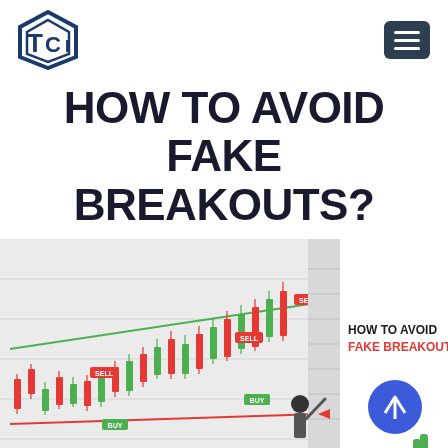[Figure (logo): TCI hexagonal logo in dark blue and navy]
[Figure (illustration): Hamburger menu icon on dark navy background button]
HOW TO AVOID FAKE BREAKOUTS?
[Figure (illustration): Trading chart with red and green candlesticks, SELL and BUY labels, trend lines, a man pointing at the chart, and overlay text 'HOW TO AVOID FAKE BREAKOUT !!' with a blue circular up-arrow button]